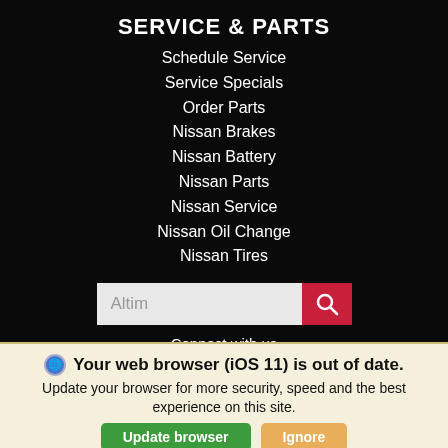SERVICE & PARTS
Schedule Service
Service Specials
Order Parts
Nissan Brakes
Nissan Battery
Nissan Parts
Nissan Service
Nissan Oil Change
Nissan Tires
[Figure (screenshot): Search input box with text 'Altim' and a red search button with magnifying glass icon]
Connect with us
[Figure (infographic): Social media icons: Facebook, Twitter, Instagram, YouTube, Pinterest]
Your web browser (iOS 11) is out of date. Update your browser for more security, speed and the best experience on this site.
Update browser   Ignore